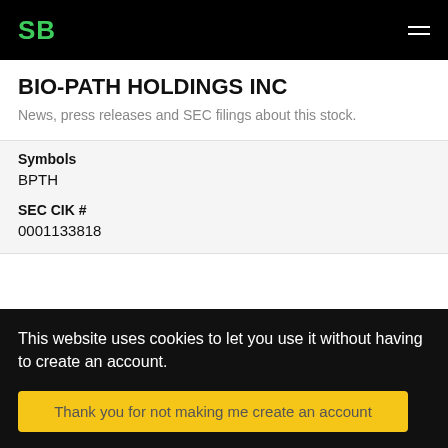SB
BIO-PATH HOLDINGS INC
News, press releases and SEC filings about this stock.
Symbols
BPTH
SEC CIK #
0001133818
article
This website uses cookies to let you use it without having to create an account.
Thank you for not making me create an account